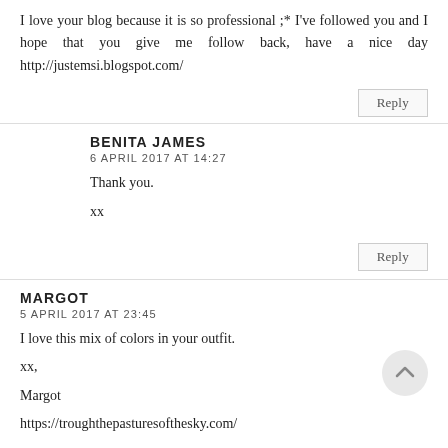I love your blog because it is so professional ;* I've followed you and I hope that you give me follow back, have a nice day http://justemsi.blogspot.com/
Reply
BENITA JAMES
6 APRIL 2017 AT 14:27
Thank you.

xx
Reply
MARGOT
5 APRIL 2017 AT 23:45
I love this mix of colors in your outfit.
xx,
Margot
https://troughthepasturesofthesky.com/